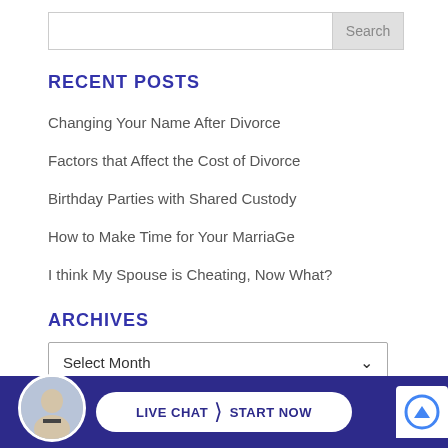Search
RECENT POSTS
Changing Your Name After Divorce
Factors that Affect the Cost of Divorce
Birthday Parties with Shared Custody
How to Make Time for Your MarriaGe
I think My Spouse is Cheating, Now What?
ARCHIVES
Select Month
CATEGORIES
LIVE CHAT  START NOW